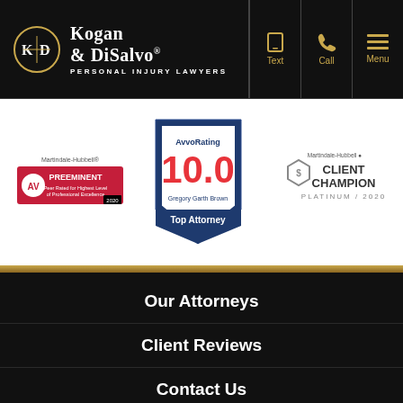Kogan & DiSalvo Personal Injury Lawyers
[Figure (logo): Kogan & DiSalvo Personal Injury Lawyers logo with circular emblem and navigation icons for Text, Call, Menu]
[Figure (infographic): Three award badges: AV Preeminent Martindale-Hubbell 2020, Avvo Rating 10.0 Gregory Garth Brown Top Attorney, Client Champion Platinum 2020]
Our Attorneys
Client Reviews
Contact Us
(561) 375-9500